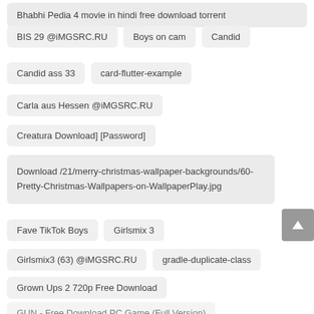Bhabhi Pedia 4 movie in hindi free download torrent
BIS 29 @iMGSRC.RU
Boys on cam
Candid
Candid ass 33
card-flutter-example
Carla aus Hessen @iMGSRC.RU
Creatura Download] [Password]
Download /21/merry-christmas-wallpaper-backgrounds/60-Pretty-Christmas-Wallpapers-on-WallpaperPlay.jpg
Fave TikTok Boys
Girlsmix 3
Girlsmix3 (63) @iMGSRC.RU
gradle-duplicate-class
Grown Ups 2 720p Free Download
GUN - Free Download PC Game (Full Version)
Hd Pistol Wallpaper posted by Sarah Sellers